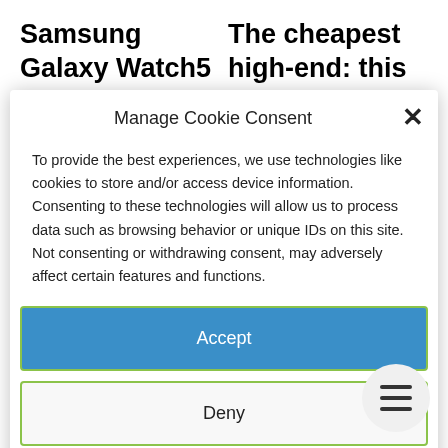Samsung Galaxy Watch5 Pro
The cheapest high-end: this Xiaomi
Manage Cookie Consent
To provide the best experiences, we use technologies like cookies to store and/or access device information. Consenting to these technologies will allow us to process data such as browsing behavior or unique IDs on this site. Not consenting or withdrawing consent, may adversely affect certain features and functions.
Accept
Deny
View preferences
Cookie Policy   Privacy Statement